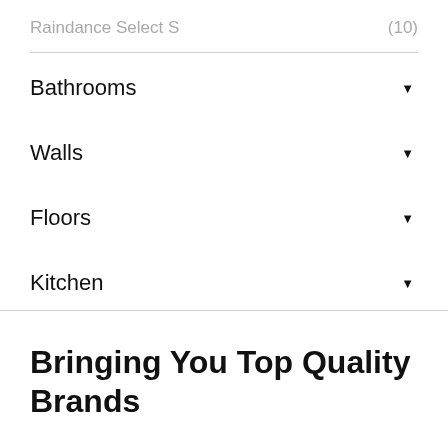Raindance Select S (10)
Bathrooms
Walls
Floors
Kitchen
Bringing You Top Quality Brands